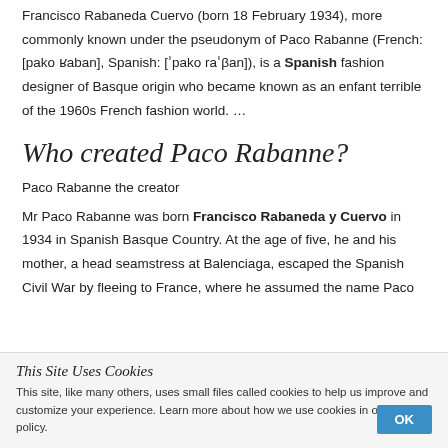Francisco Rabaneda Cuervo (born 18 February 1934), more commonly known under the pseudonym of Paco Rabanne (French: [pako ʁaban], Spanish: [ˈpako raˈβan]), is a Spanish fashion designer of Basque origin who became known as an enfant terrible of the 1960s French fashion world. …
Who created Paco Rabanne?
Paco Rabanne the creator
Mr Paco Rabanne was born Francisco Rabaneda y Cuervo in 1934 in Spanish Basque Country. At the age of five, he and his mother, a head seamstress at Balenciaga, escaped the Spanish Civil War by fleeing to France, where he assumed the name Paco
This Site Uses Cookies
This site, like many others, uses small files called cookies to help us improve and customize your experience. Learn more about how we use cookies in our cookie policy.